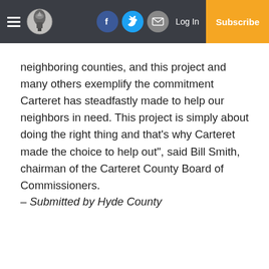Navigation bar with hamburger menu, logo, Facebook, Twitter, Email icons, Log In, Subscribe
neighboring counties, and this project and many others exemplify the commitment Carteret has steadfastly made to help our neighbors in need. This project is simply about doing the right thing and that’s why Carteret made the choice to help out”, said Bill Smith, chairman of the Carteret County Board of Commissioners.
– Submitted by Hyde County